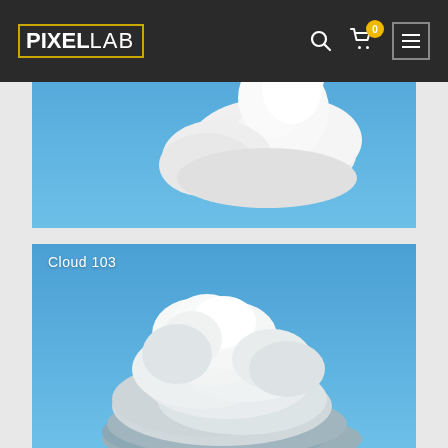PIXELLAB
[Figure (photo): Cloud 102 - white cumulus cloud against blue sky]
[Figure (photo): Cloud 103 - large white cumulus cloud with dark base against blue sky]